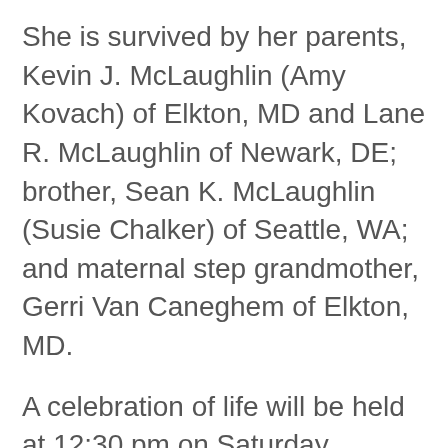She is survived by her parents, Kevin J. McLaughlin (Amy Kovach) of Elkton, MD and Lane R. McLaughlin of Newark, DE; brother, Sean K. McLaughlin (Susie Chalker) of Seattle, WA; and maternal step grandmother, Gerri Van Caneghem of Elkton, MD.
A celebration of life will be held at 12:30 pm on Saturday afternoon, June 18, 2016, at the Spicer-Mullikin Funeral Home, 121 West Park Place, Newark, DE, where a visitation will be held from 11 am until 12:30 pm. Interment will be held privately.
In lieu of flowers, please consider furthering Kelly's vision of helping others with a